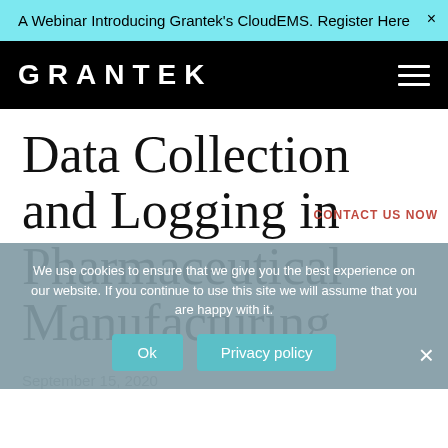A Webinar Introducing Grantek's CloudEMS. Register Here
[Figure (logo): Grantek logo and navigation bar with hamburger menu on black background]
Data Collection and Logging in Pharmaceutical Manufacturing
We use cookies to ensure that we give you the best experience on our website. If you continue to use this site we will assume that you are happy with it.
September 15, 2020